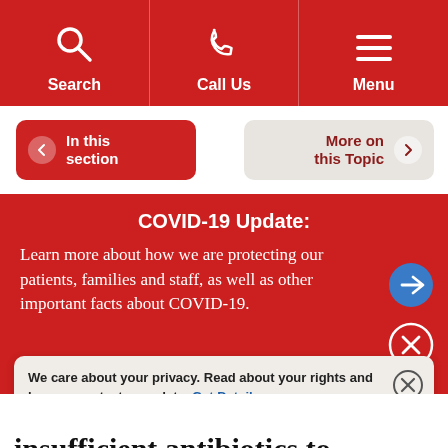[Figure (screenshot): Top navigation bar with red background showing Search, Call Us, and Menu icons with labels]
[Figure (screenshot): Navigation buttons row: 'In this section' red button with left arrow, divider, 'More on this Topic' beige button with right arrow]
COVID-19 Update:
Learn more about how we are protecting our patients, families and staff, as well as other important facts about COVID-19.
We care about your privacy. Read about your rights and how we protect your data. Get Details »
insufficient antibiotics to